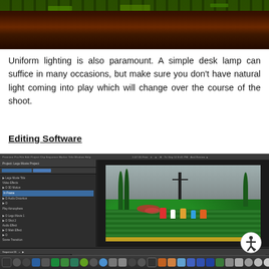[Figure (screenshot): Partial top image showing a dark wooden/green surface scene from above, likely a stop-motion set]
Uniform lighting is also paramount. A simple desk lamp can suffice in many occasions, but make sure you don't have natural light coming into play which will change over the course of the shoot.
Editing Software
[Figure (screenshot): Screenshot of Adobe Premiere Pro video editing software showing a stop-motion LEGO animation project with timeline tracks, project panel, and preview window displaying a LEGO scene with figures and green ground]